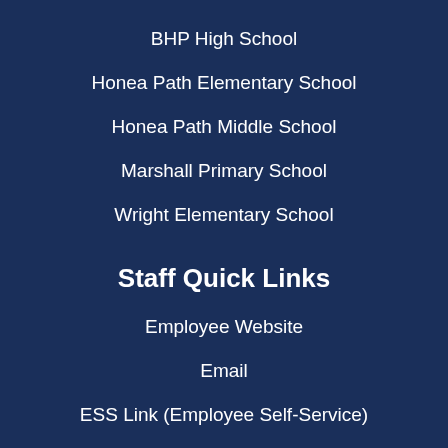BHP High School
Honea Path Elementary School
Honea Path Middle School
Marshall Primary School
Wright Elementary School
Staff Quick Links
Employee Website
Email
ESS Link (Employee Self-Service)